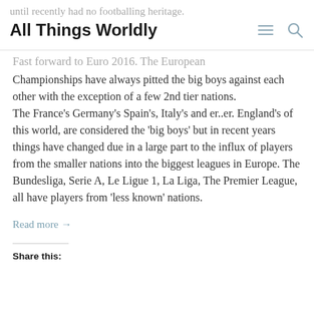All Things Worldly
until recently had no footballing heritage.
Fast forward to Euro 2016. The European Championships have always pitted the big boys against each other with the exception of a few 2nd tier nations.
The France's Germany's Spain's, Italy's and er..er. England's of this world, are considered the 'big boys' but in recent years things have changed due in a large part to the influx of players from the smaller nations into the biggest leagues in Europe. The Bundesliga, Serie A, Le Ligue 1, La Liga, The Premier League, all have players from 'less known' nations.
Read more →
Share this: